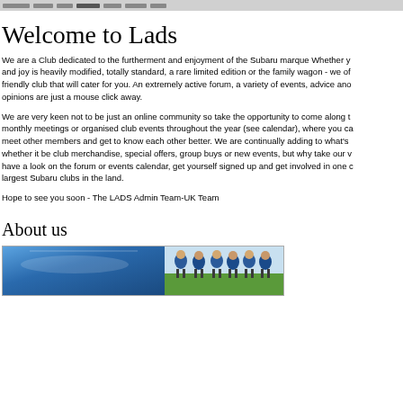[navigation bar]
Welcome to Lads
We are a Club dedicated to the furtherment and enjoyment of the Subaru marque Whether your pride and joy is heavily modified, totally standard, a rare limited edition or the family wagon - we offer a friendly club that will cater for you. An extremely active forum, a variety of events, advice and opinions are just a mouse click away.
We are very keen not to be just an online community so take the opportunity to come along to our monthly meetings or organised club events throughout the year (see calendar), where you can meet other members and get to know each other better. We are continually adding to what's on offer, whether it be club merchandise, special offers, group buys or new events, but why take our word for it, have a look on the forum or events calendar, get yourself signed up and get involved in one of the largest Subaru clubs in the land.
Hope to see you soon - The LADS Admin Team-UK Team
About us
[Figure (photo): A wide banner photo showing a blue car bonnet on the left and a group of people in blue jackets on the right, outdoors on green grass.]